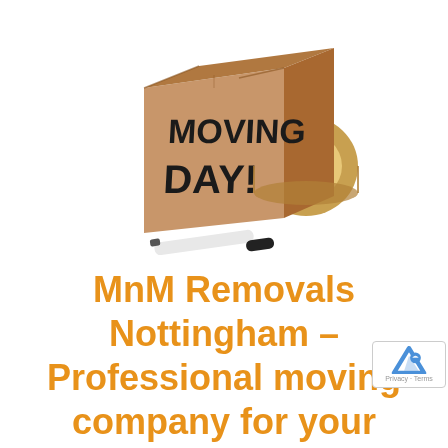[Figure (illustration): A cardboard moving box with 'MOVING DAY!' written on the front in black marker, alongside a roll of brown packing tape and a black marker pen, on a white background.]
MnM Removals Nottingham – Professional moving company for your